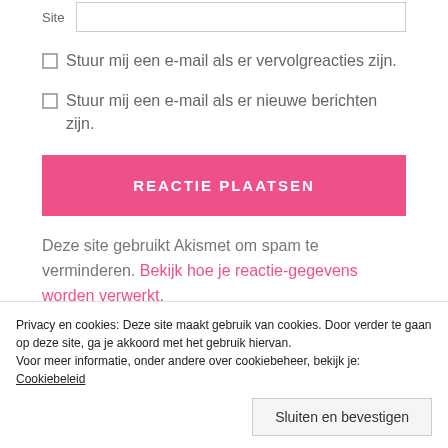Site [input field]
Stuur mij een e-mail als er vervolgreacties zijn.
Stuur mij een e-mail als er nieuwe berichten zijn.
REACTIE PLAATSEN
Deze site gebruikt Akismet om spam te verminderen. Bekijk hoe je reactie-gegevens worden verwerkt.
Privacy en cookies: Deze site maakt gebruik van cookies. Door verder te gaan op deze site, ga je akkoord met het gebruik hiervan. Voor meer informatie, onder andere over cookiebeheer, bekijk je: Cookiebeleid
Sluiten en bevestigen